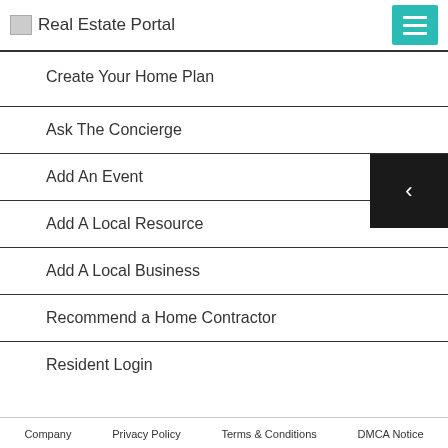Real Estate Portal
Create Your Home Plan
Ask The Concierge
Add An Event
Add A Local Resource
Add A Local Business
Recommend a Home Contractor
Resident Login
Company   Privacy Policy   Terms & Conditions   DMCA Notice